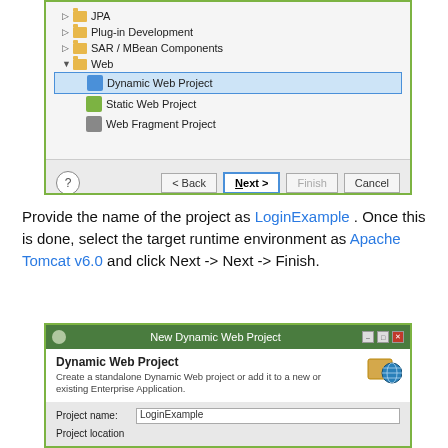[Figure (screenshot): Eclipse IDE New Project wizard dialog showing a tree list with JPA, Plug-in Development, SAR/MBean Components, and Web (expanded with Dynamic Web Project selected, Static Web Project, Web Fragment Project). Bottom has Back, Next>, Finish, Cancel buttons.]
Provide the name of the project as LoginExample . Once this is done, select the target runtime environment as Apache Tomcat v6.0 and click Next -> Next -> Finish.
[Figure (screenshot): New Dynamic Web Project dialog in Eclipse showing title bar, Dynamic Web Project header, description text, Project name field with LoginExample, and Project location field.]